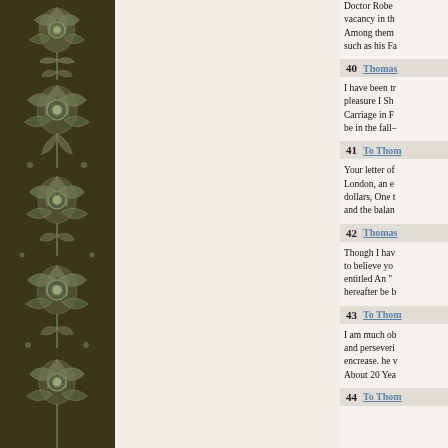[Figure (illustration): Dark olive/brown decorative floral pattern on left panel with ornate botanical designs in lighter tone]
Doctor Robe vacancy in th Among them such as his Fa
40   Thomas   I have been t pleasure I Sh Carriage in F be in the fall–
41   To Thom   Your letter of London, an e dollars, One t and the balan
42   Thomas   Though I hav to believe yo entitled An " hereafter be b
43   To Thom   I am much ob and perseveri encrease. he v About 20 Yea
44   To Thom